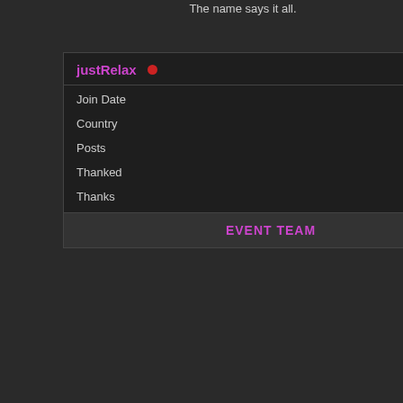The name says it all.
door to scammers.
|  |  |
| --- | --- |
| justRelax | ● |
| Join Date | May 2013 |
| Country | 🇺🇸 |
| Posts | 1,074 |
| Thanked | 283 |
| Thanks | 502 |
EVENT TEAM
FREES
EVE
Spoiler!  SH